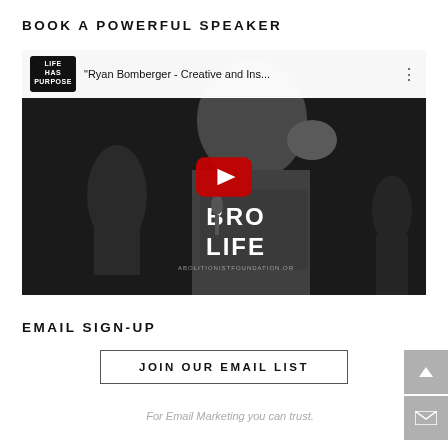BOOK A POWERFUL SPEAKER
[Figure (screenshot): YouTube video thumbnail showing Ryan Bomberger speaking on stage, wearing a 'BRO LIFE' shirt, holding a microphone. Video title: 'Ryan Bomberger - Creative and Ins...' with Life Has Purpose logo in top left corner and YouTube play button overlay.]
EMAIL SIGN-UP
[Figure (other): JOIN OUR EMAIL LIST button with border, and two sidebar navigation buttons (up arrow and envelope/mail icon) on the right side.]
For Email Marketing you can trust.